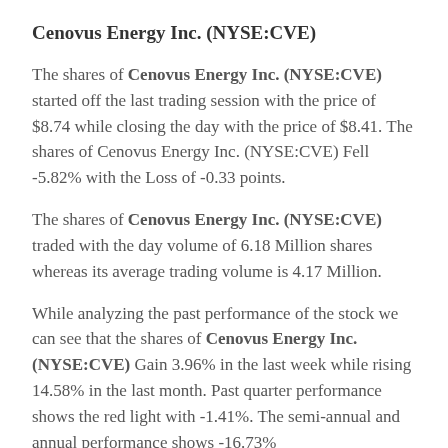Cenovus Energy Inc. (NYSE:CVE)
The shares of Cenovus Energy Inc. (NYSE:CVE) started off the last trading session with the price of $8.74 while closing the day with the price of $8.41. The shares of Cenovus Energy Inc. (NYSE:CVE) Fell -5.82% with the Loss of -0.33 points.
The shares of Cenovus Energy Inc. (NYSE:CVE) traded with the day volume of 6.18 Million shares whereas its average trading volume is 4.17 Million.
While analyzing the past performance of the stock we can see that the shares of Cenovus Energy Inc. (NYSE:CVE) Gain 3.96% in the last week while rising 14.58% in the last month. Past quarter performance shows the red light with -1.41%. The semi-annual and annual performance shows -16.73%